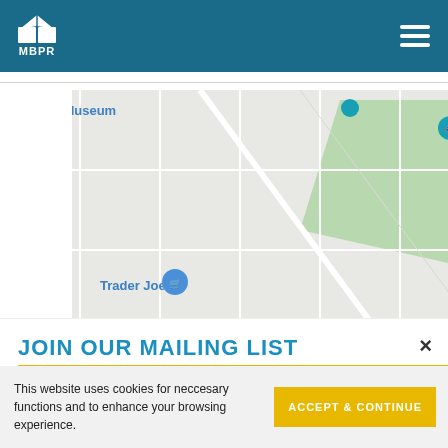MBPR
[Figure (map): Google Maps view of Downtown East Minneapolis showing Guthrie Theater, Gold Medal Park, Trader Joe's, U.S. Bank Stadium, Bobby & Steve's Auto World, W River Pkwy, Mill City Museum, and Intermec Pool area.]
JOIN OUR MAILING LIST
Sign up for our newsletter:
This website uses cookies for neccesary functions and to enhance your browsing experience.